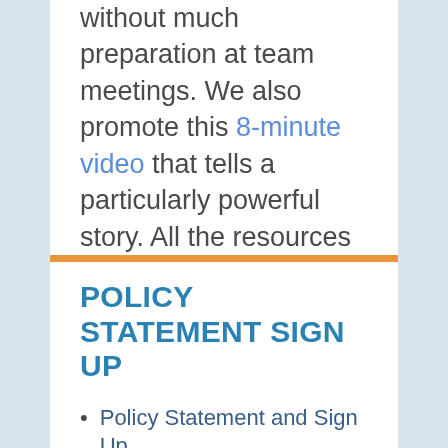without much preparation at team meetings. We also promote this 8-minute video that tells a particularly powerful story. All the resources on this website are available to everyone.
POLICY STATEMENT SIGN UP
Policy Statement and Sign Up
Policy Statement Resource Pack